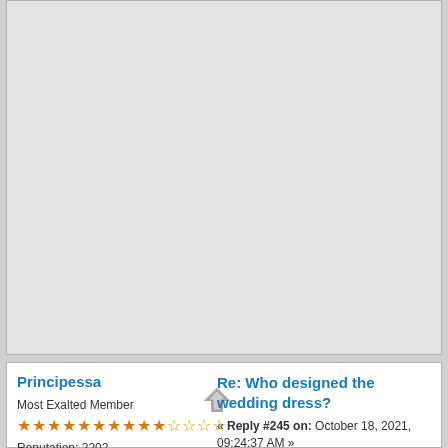[Figure (other): Large light gray empty post content area at top of forum page]
Principessa
Most Exalted Member
★★★★★★★★★★☆☆☆☆
Reputation: 2202
Re: Who designed the wedding dress?
« Reply #245 on: October 18, 2021, 09:24:37 AM »